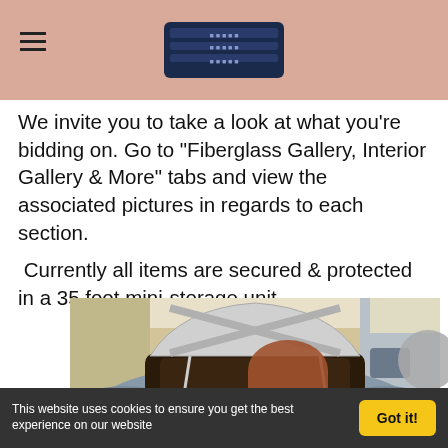Navigation header with hamburger menu and logo
We invite you to take a look at what you’re bidding on. Go to “Fiberglass Gallery, Interior Gallery & More” tabs and view the associated pictures in regards to each section.

Currently all items are secured & protected in a 35 foot mini-storage unit.
[Figure (photo): Photo showing the open trunk/boot of a vintage car (light blue/grey body) stored in a garage or storage unit, with fiberglass body panels visible, tools and items in background.]
This website uses cookies to ensure you get the best experience on our website  Got it!